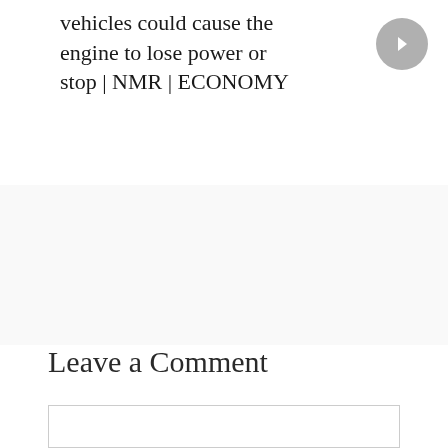vehicles could cause the engine to lose power or stop | NMR | ECONOMY
Leave a Comment